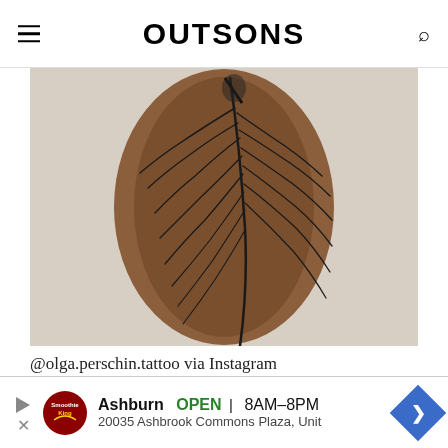OUTSONS
[Figure (photo): Close-up photograph of a feather tattoo on dark skin forearm. The tattoo shows elegant flowing feather lines in black ink, with strands spreading outward from a central quill.]
@olga.perschin.tattoo via Instagram
[Figure (other): Advertisement banner: Smoothie King - Ashburn OPEN 8AM-8PM, 20035 Ashbrook Commons Plaza, Unit]